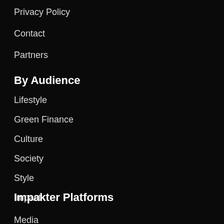Privacy Policy
Contact
Partners
By Audience
Lifestyle
Green Finance
Culture
Society
Style
Impact
Impakter Platforms
Media